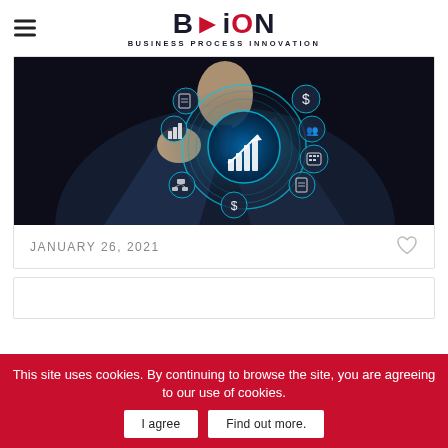BPiON - BUSINESS PROCESS INNOVATION
[Figure (photo): A businessman in a dark suit holding a holographic display showing business growth icons including a bar chart with upward arrow, dollar signs, people icons, calculator, document icons, and organizational chart symbols, all glowing in blue on a dark background]
JANUARY 26, 2021
This site uses cookies. By continuing to browse the site, you are agreeing to our use of cookies.